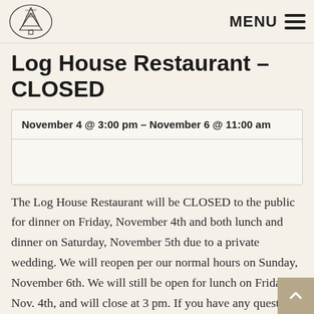Garnet Hill Lodge — MENU
Log House Restaurant – CLOSED
| November 4 @ 3:00 pm – November 6 @ 11:00 am |
|  |
The Log House Restaurant will be CLOSED to the public for dinner on Friday, November 4th and both lunch and dinner on Saturday, November 5th due to a private wedding. We will reopen per our normal hours on Sunday, November 6th. We will still be open for lunch on Friday, Nov. 4th, and will close at 3 pm. If you have any questions, please call our front desk at 518-251-2150.